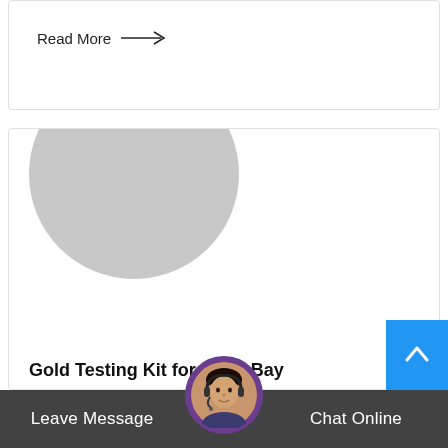Read More →
[Figure (photo): Large circular gray placeholder image above a content card]
Gold Testing Kit for sale eBay
Get the best deals onGold Testing Kitwhen you shop the largest online selection at eBay.com. Free shipping on many items use your favorite
[Figure (photo): Blue scroll-to-top button with upward chevron arrow]
Leave Message
[Figure (photo): Customer service agent avatar photo in circular frame]
Chat Online